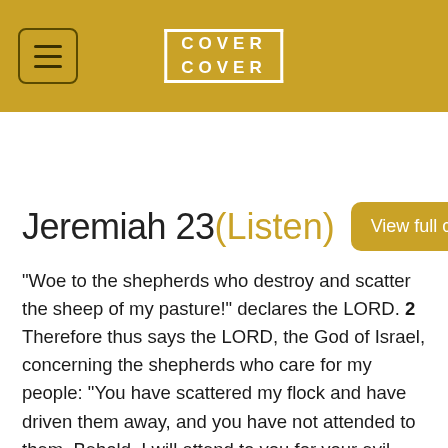COVER COVER
Jeremiah 23 (Listen)
"Woe to the shepherds who destroy and scatter the sheep of my pasture!" declares the LORD. 2 Therefore thus says the LORD, the God of Israel, concerning the shepherds who care for my people: "You have scattered my flock and have driven them away, and you have not attended to them. Behold, I will attend to you for your evil deeds, declares the LORD. 3 Then I will gather the remnant of my flock out of all the countries where I have driven them, and I will bring them back to their fold, and